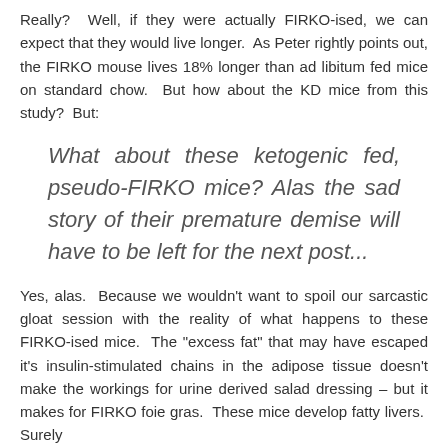Really? Well, if they were actually FIRKO-ised, we can expect that they would live longer. As Peter rightly points out, the FIRKO mouse lives 18% longer than ad libitum fed mice on standard chow. But how about the KD mice from this study? But:
What about these ketogenic fed, pseudo-FIRKO mice? Alas the sad story of their premature demise will have to be left for the next post...
Yes, alas. Because we wouldn't want to spoil our sarcastic gloat session with the reality of what happens to these FIRKO-ised mice. The "excess fat" that may have escaped it's insulin-stimulated chains in the adipose tissue doesn't make the workings for urine derived salad dressing – but it makes for FIRKO foie gras. These mice develop fatty livers. Surely